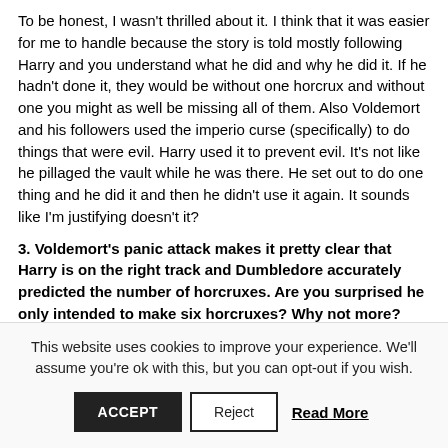To be honest, I wasn't thrilled about it. I think that it was easier for me to handle because the story is told mostly following Harry and you understand what he did and why he did it. If he hadn't done it, they would be without one horcrux and without one you might as well be missing all of them. Also Voldemort and his followers used the imperio curse (specifically) to do things that were evil. Harry used it to prevent evil. It's not like he pillaged the vault while he was there. He set out to do one thing and he did it and then he didn't use it again. It sounds like I'm justifying doesn't it?
3. Voldemort's panic attack makes it pretty clear that Harry is on the right track and Dumbledore accurately predicted the number of horcruxes. Are you surprised he only intended to make six horcruxes? Why not more?
I think it has to do with the number seven. All of the research Voldy would have read would have warned against even doing it
This website uses cookies to improve your experience. We'll assume you're ok with this, but you can opt-out if you wish.